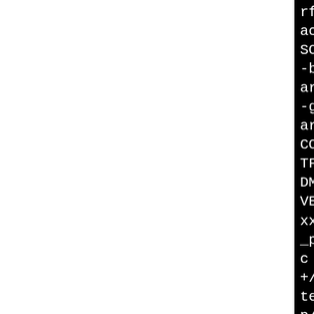rf-4 -fno-debug-types-sec acking-assignments -g2 -Wp SOURCE=2 -fstack-protector -buffer-size=4 -fomit-fram arch=i486 -fasynchronous-u -gdwarf-4 -fno-debug-types ar-tracking-assignments -g CONS -DMONGO_EXPOSE_MACROS TF8 -D_FILE_OFFSET_BITS=64 DMONGO_HAVE_HEADER_UNISTD_ VE_EXECINFO_BACKTRACE -Ibu xx_i486-pld-linux-g++/extr _pcre_snappy/use-system-al c -Ibuild/linux2/cxx_i486- +/extralib_pcrecpp_pcre_sn tem-all/usev8/mongo -Isrc/ p/B.dd852db4-a3d1-485d-8a1 52/BUILD/v8/include src/mo bclient_rs.cpp ranlib build/linux2/cxx_i4 -g++/extralib_pcrecpp_pcre system-all/usev8/client_bu client.a Install file: "build/linu